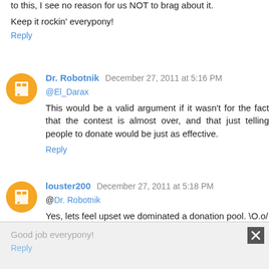to this, I see no reason for us NOT to brag about it.
Keep it rockin' everypony!
Reply
Dr. Robotnik  December 27, 2011 at 5:16 PM
@El_Darax
This would be a valid argument if it wasn't for the fact that the contest is almost over, and that just telling people to donate would be just as effective.
Reply
louster200  December 27, 2011 at 5:18 PM
@Dr. Robotnik
Yes, lets feel upset we dominated a donation pool. \O.o/
Good job everypony!
Reply